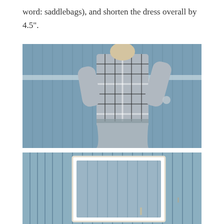word: saddlebags), and shorten the dress overall by 4.5".
[Figure (photo): Back view of a person wearing a black and white plaid dress with 3/4 sleeves, standing in front of a blue wooden fence. The person has one hand in their pocket.]
[Figure (photo): Close-up view of a weathered blue wooden fence with a white-framed mirror or sign leaning against it.]